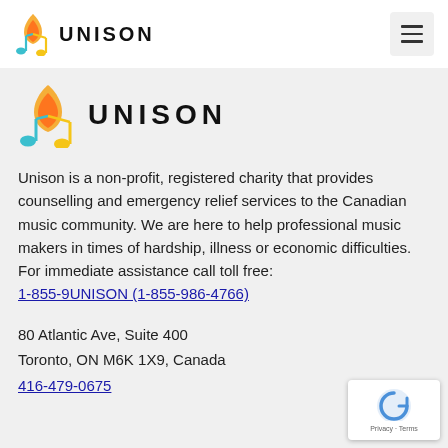UNISON
[Figure (logo): Unison logo - secondary larger version with music note flame icon in orange/yellow/teal and UNISON text in bold black]
Unison is a non-profit, registered charity that provides counselling and emergency relief services to the Canadian music community. We are here to help professional music makers in times of hardship, illness or economic difficulties. For immediate assistance call toll free: 1-855-9UNISON (1-855-986-4766)
80 Atlantic Ave, Suite 400
Toronto, ON M6K 1X9, Canada
416-479-0675